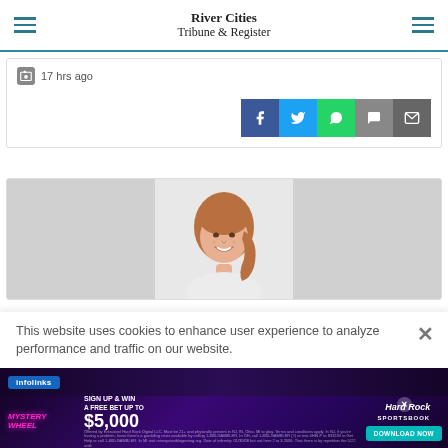River Cities Tribune & Register
17 hrs ago
[Figure (other): Social share buttons: Facebook, Twitter, WhatsApp, Chat, Email]
[Figure (photo): Portrait photo of a smiling woman with long brown hair pulled back, against a neutral background]
This website uses cookies to enhance user experience to analyze performance and traffic on our website.
[Figure (infographic): Infolinks advertisement bar and Hard Rock Sportsbook Mystery Wheel promotion: Sign up & win a free bet up to $5,000. Download Now button.]